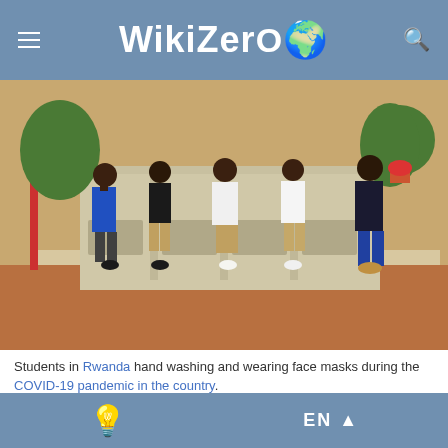WikiZero
[Figure (photo): Students in Rwanda standing at outdoor hand washing stations, wearing face masks during the COVID-19 pandemic]
Students in Rwanda hand washing and wearing face masks during the COVID-19 pandemic in the country.
Thorough hand hygiene after any cough or sneeze is required. The
EN